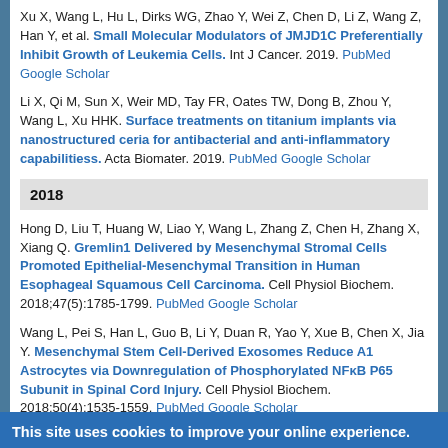Xu X, Wang L, Hu L, Dirks WG, Zhao Y, Wei Z, Chen D, Li Z, Wang Z, Han Y, et al. Small Molecular Modulators of JMJD1C Preferentially Inhibit Growth of Leukemia Cells. Int J Cancer. 2019. PubMed Google Scholar
Li X, Qi M, Sun X, Weir MD, Tay FR, Oates TW, Dong B, Zhou Y, Wang L, Xu HHK. Surface treatments on titanium implants via nanostructured ceria for antibacterial and anti-inflammatory capabilitiess. Acta Biomater. 2019. PubMed Google Scholar
2018
Hong D, Liu T, Huang W, Liao Y, Wang L, Zhang Z, Chen H, Zhang X, Xiang Q. Gremlin1 Delivered by Mesenchymal Stromal Cells Promoted Epithelial-Mesenchymal Transition in Human Esophageal Squamous Cell Carcinoma. Cell Physiol Biochem. 2018;47(5):1785-1799. PubMed Google Scholar
Wang L, Pei S, Han L, Guo B, Li Y, Duan R, Yao Y, Xue B, Chen X, Jia Y. Mesenchymal Stem Cell-Derived Exosomes Reduce A1 Astrocytes via Downregulation of Phosphorylated NFκB P65 Subunit in Spinal Cord Injury. Cell Physiol Biochem. 2018;50(4):1535-1559. PubMed Google Scholar
This site uses cookies to improve your online experience.